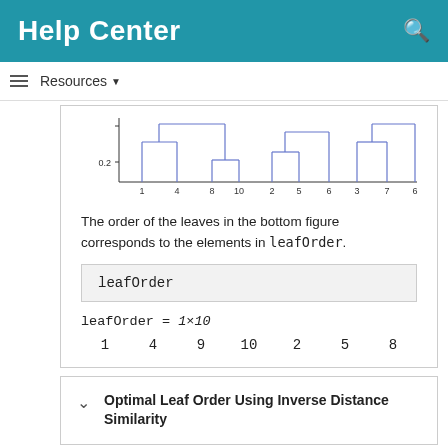Help Center
Resources
[Figure (other): Dendrogram chart showing hierarchical clustering with leaves labeled 1, 4, 8, 10, 2, 5, 6, 3, 7, 6 on x-axis and value 0.2 marked on y-axis]
The order of the leaves in the bottom figure corresponds to the elements in leafOrder.
| leafOrder |
leafOrder = 1×10
1    4    9    10    2    5    8
Optimal Leaf Order Using Inverse Distance Similarity